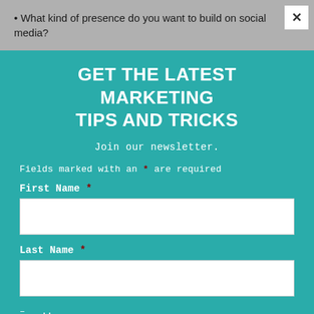What kind of presence do you want to build on social media?
GET THE LATEST MARKETING TIPS AND TRICKS
Join our newsletter.
Fields marked with an * are required
First Name *
Last Name *
– ..